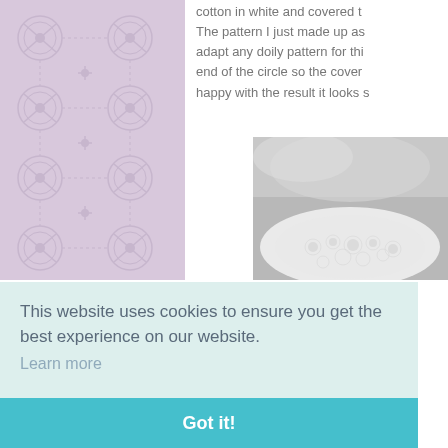[Figure (illustration): Decorative lavender/purple background panel with repeating cross and circular floral pattern in lighter purple tones, arranged in a grid]
cotton in white and covered t... The pattern I just made up as... adapt any doily pattern for thi... end of the circle so the cover... happy with the result it looks s...
[Figure (photo): Close-up photo of white crocheted lace doily on a light background, showing intricate lacework pattern]
This website uses cookies to ensure you get the best experience on our website.
Learn more
Got it!